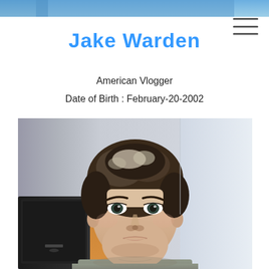[Figure (photo): Top banner strip showing a partial photo with blue sky/outdoor scene]
Jake Warden
American Vlogger
Date of Birth : February-20-2002
[Figure (photo): Photo of Jake Warden, a young teenage male with curly dark brown hair, wearing a grey t-shirt, standing in a room with a dark monitor/TV on the left and an orange/yellow background element, looking directly at the camera]